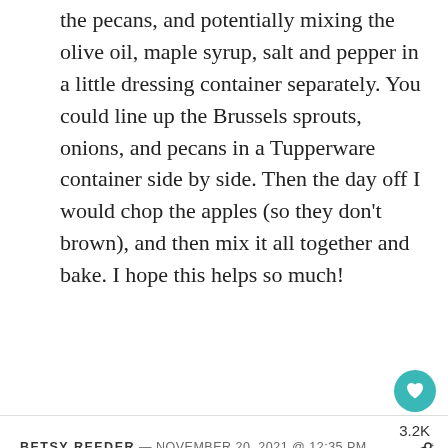the pecans, and potentially mixing the olive oil, maple syrup, salt and pepper in a little dressing container separately. You could line up the Brussels sprouts, onions, and pecans in a Tupperware container side by side. Then the day off I would chop the apples (so they don't brown), and then mix it all together and bake. I hope this helps so much!
3.2K
BETSY REEDER — NOVEMBER 20, 2021 @ 12:35 PM
REPLY
[Figure (screenshot): Advertisement for Retinol Reform Treatment Serum 1 oz / 30 mL by Shani Darden Skin, price $88, shop now at Sephora]